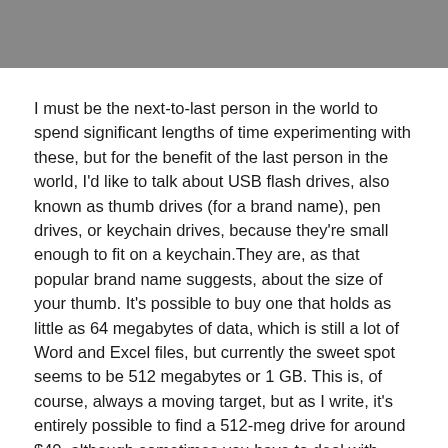[Figure (other): Gray header bar at the top of the page]
I must be the next-to-last person in the world to spend significant lengths of time experimenting with these, but for the benefit of the last person in the world, I'd like to talk about USB flash drives, also known as thumb drives (for a brand name), pen drives, or keychain drives, because they're small enough to fit on a keychain.They are, as that popular brand name suggests, about the size of your thumb. It's possible to buy one that holds as little as 64 megabytes of data, which is still a lot of Word and Excel files, but currently the sweet spot seems to be 512 megabytes or 1 GB. This is, of course, always a moving target, but as I write, it's entirely possible to find a 512-meg drive for around $40, although sometimes you have to deal with rebates to get the price that low. It's harder, but still possible, to get a 1 GB drive for under $90. That will change.